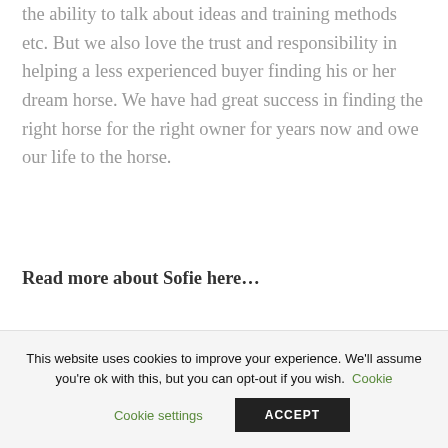the ability to talk about ideas and training methods etc. But we also love the trust and responsibility in helping a less experienced buyer finding his or her dream horse. We have had great success in finding the right horse for the right owner for years now and owe our life to the horse.
Read more about Sofie here…
This website uses cookies to improve your experience. We'll assume you're ok with this, but you can opt-out if you wish. Cookie settings ACCEPT